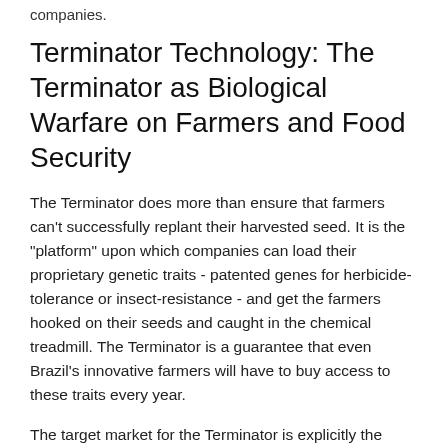companies.
Terminator Technology: The Terminator as Biological Warfare on Farmers and Food Security
The Terminator does more than ensure that farmers can't successfully replant their harvested seed. It is the "platform" upon which companies can load their proprietary genetic traits - patented genes for herbicide-tolerance or insect-resistance - and get the farmers hooked on their seeds and caught in the chemical treadmill. The Terminator is a guarantee that even Brazil's innovative farmers will have to buy access to these traits every year.
The target market for the Terminator is explicitly the South's farmers. Beginning with company news releases announcing the patent, Delta and Pine has trumpeted that its Technology Protection System will make it economically safe for seed companies to sell their high-tech varieties in Africa, Asia and Latin America. The